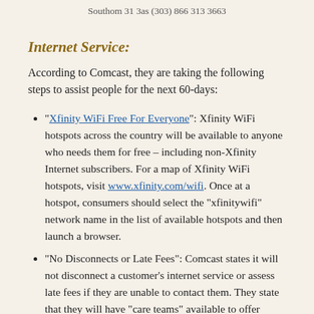Southom 31 3as (303) 866 313 3663
Internet Service:
According to Comcast, they are taking the following steps to assist people for the next 60-days:
“Xfinity WiFi Free For Everyone”: Xfinity WiFi hotspots across the country will be available to anyone who needs them for free – including non-Xfinity Internet subscribers. For a map of Xfinity WiFi hotspots, visit www.xfinity.com/wifi. Once at a hotspot, consumers should select the “xfinitywifi” network name in the list of available hotspots and then launch a browser.
“No Disconnects or Late Fees”: Comcast states it will not disconnect a customer’s internet service or assess late fees if they are unable to contact them. They state that they will have “care teams” available to offer flexible payment options and can help find other